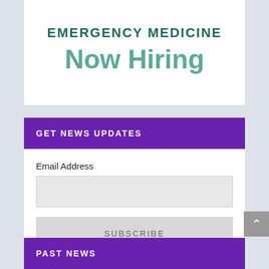[Figure (other): Emergency Medicine department banner showing 'EMERGENCY MEDICINE' in dark teal uppercase letters and 'Now Hiring' in large teal text below]
GET NEWS UPDATES
Email Address
SUBSCRIBE
PAST NEWS